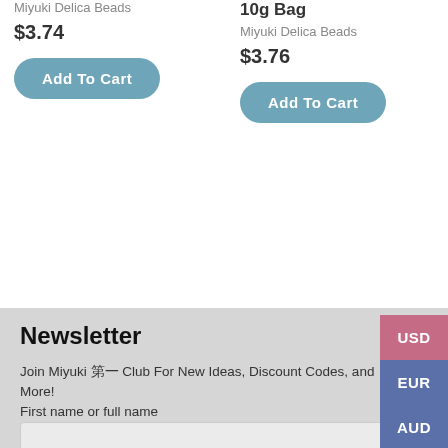Miyuki Delica Beads
$3.74
Add To Cart
10g Bag
Miyuki Delica Beads
$3.76
Add To Cart
Newsletter
Join Miyuki 🀄 Club For New Ideas, Discount Codes, and More!
First name or full name
Email